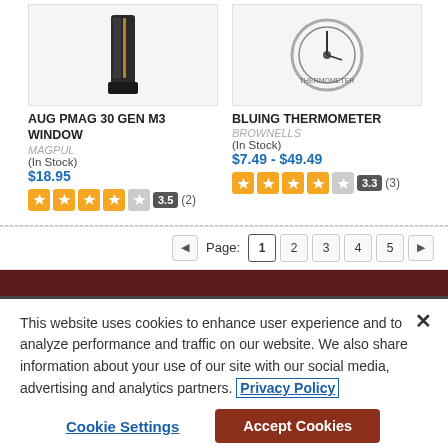[Figure (photo): Product image of AUG PMAG 30 GEN M3 WINDOW magazine (black plastic rifle magazine)]
AUG PMAG 30 GEN M3 WINDOW
MAGPUL
(In Stock)
$18.95
3.5 (2)
[Figure (photo): Product image of BLUING THERMOMETER (gauge/dial instrument)]
BLUING THERMOMETER
BROWNELLS
(In Stock)
$7.49 - $49.49
3.3 (3)
Page: 1 2 3 4 5
This website uses cookies to enhance user experience and to analyze performance and traffic on our website. We also share information about your use of our site with our social media, advertising and analytics partners. Privacy Policy
Cookie Settings    Accept Cookies